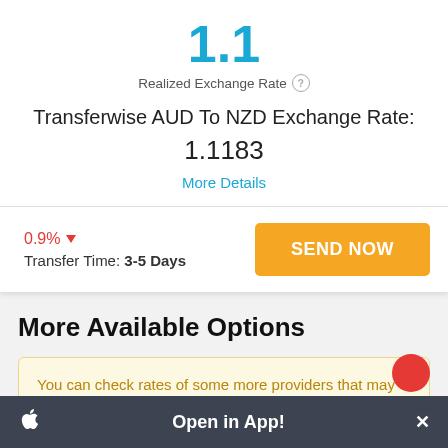1.1
Realized Exchange Rate
Transferwise AUD To NZD Exchange Rate: 1.1183
More Details
0.9% ▼
Transfer Time: 3-5 Days
SEND NOW
More Available Options
You can check rates of some more providers that may support your country
Open in App!